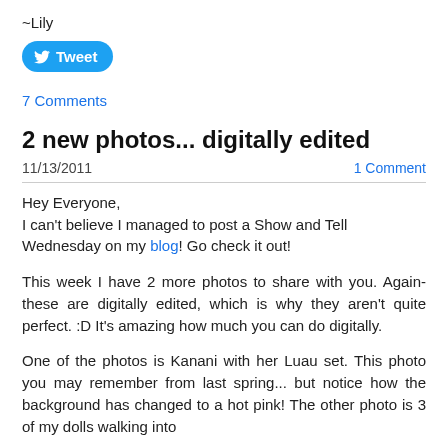~Lily
[Figure (other): Twitter Tweet button (rounded blue button with Twitter bird icon and 'Tweet' text)]
7 Comments
2 new photos... digitally edited
11/13/2011
1 Comment
Hey Everyone,
I can't believe I managed to post a Show and Tell Wednesday on my blog!  Go check it out!
This week I have 2 more photos to share with you.  Again- these are digitally edited, which is why they aren't quite perfect. :D  It's amazing how much you can do digitally.
One of the photos is Kanani with her Luau set.  This photo you may remember from last spring... but notice how the background has changed to a hot pink!  The other photo is 3 of my dolls walking into